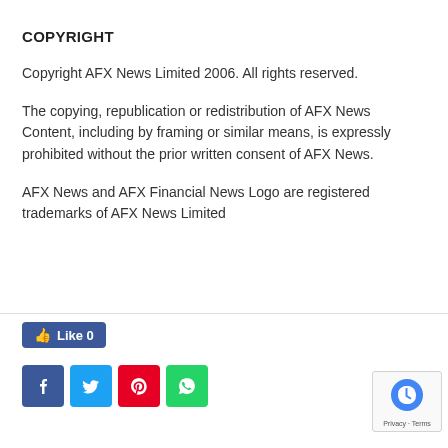COPYRIGHT
Copyright AFX News Limited 2006. All rights reserved.
The copying, republication or redistribution of AFX News Content, including by framing or similar means, is expressly prohibited without the prior written consent of AFX News.
AFX News and AFX Financial News Logo are registered trademarks of AFX News Limited